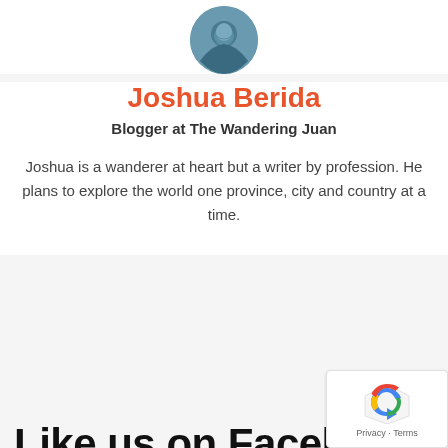[Figure (photo): Circular avatar photo of Joshua Berida showing a person near water/coast]
Joshua Berida
Blogger at The Wandering Juan
Joshua is a wanderer at heart but a writer by profession. He plans to explore the world one province, city and country at a time.
Like us on Facebook!
[Figure (logo): Google reCAPTCHA badge with Privacy and Terms links]